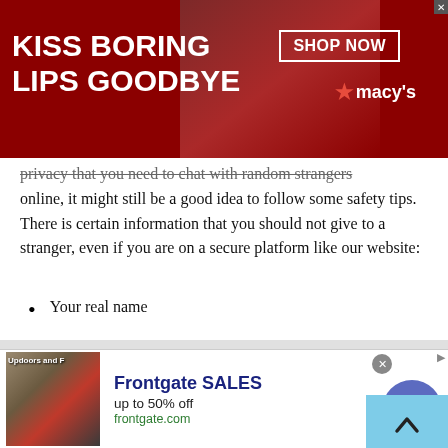[Figure (other): Advertisement banner for Macy's lipstick promotion: 'KISS BORING LIPS GOODBYE' with 'SHOP NOW' button and Macy's star logo on dark red background with woman's lips photo]
privacy that you need to chat with random strangers online, it might still be a good idea to follow some safety tips. There is certain information that you should not give to a stranger, even if you are on a secure platform like our website:
Your real name
The names of your friends or family members
Addresses which include your home, workplace, or school address
[Figure (other): Advertisement banner for Frontgate SALES: 'up to 50% off' with frontgate.com URL, showing outdoor furniture image, close button, and arrow navigation button]